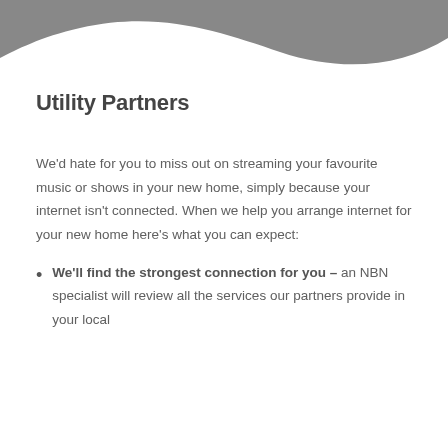[Figure (illustration): Gray decorative wave shape at the top of the page]
Utility Partners
We'd hate for you to miss out on streaming your favourite music or shows in your new home, simply because your internet isn't connected. When we help you arrange internet for your new home here's what you can expect:
We'll find the strongest connection for you – an NBN specialist will review all the services our partners provide in your local